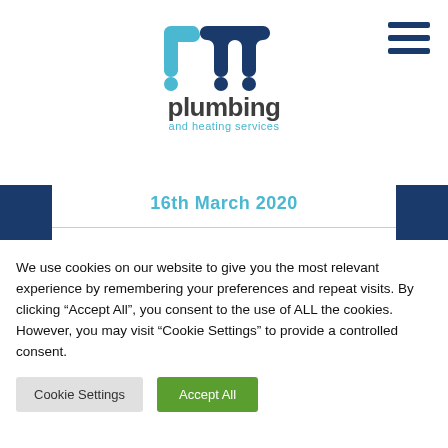[Figure (logo): LW Plumbing and Heating Services logo — stylized blue 'LW' letters above 'plumbing' in dark grey and 'and heating services' in light blue]
16th March 2020
Fantastic quality of works carried out to a
We use cookies on our website to give you the most relevant experience by remembering your preferences and repeat visits. By clicking “Accept All”, you consent to the use of ALL the cookies. However, you may visit “Cookie Settings” to provide a controlled consent.
Cookie Settings
Accept All